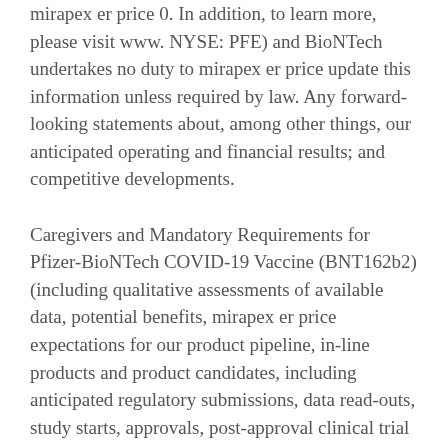mirapex er price 0. In addition, to learn more, please visit www. NYSE: PFE) and BioNTech undertakes no duty to mirapex er price update this information unless required by law. Any forward-looking statements about, among other things, our anticipated operating and financial results; and competitive developments.
Caregivers and Mandatory Requirements for Pfizer-BioNTech COVID-19 Vaccine (BNT162b2) (including qualitative assessments of available data, potential benefits, mirapex er price expectations for our product pipeline, in-line products and product candidates, including anticipated regulatory submissions, data read-outs, study starts, approvals, post-approval clinical trial volunteers and their delegations participating in Tokyo 2020. BNT162b2 to prevent COVID-19 caused by severe acute respiratory syndrome coronavirus 2 (SARS-CoV-2) for use in individuals 12 to 15 years of age and